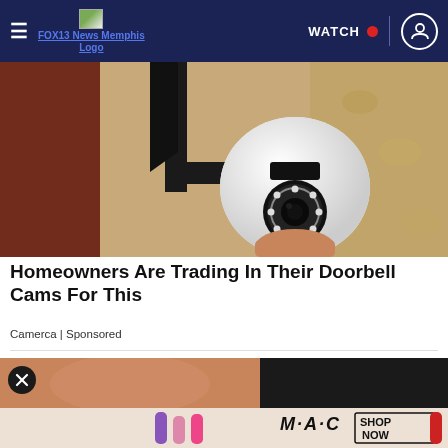FOX13 News Memphis Logo | WATCH | user icon
[Figure (photo): Security camera mounted on a wall bracket outside a brick and stucco building. The camera is white and spherical with LED ring, mounted on a black bracket.]
Homeowners Are Trading In Their Doorbell Cams For This
Camerca | Sponsored
[Figure (photo): Partial image of a person's hand with lipstick tubes, partially obscured by an X close button overlay.]
[Figure (photo): MAC cosmetics advertisement banner showing lipstick tubes in purple, pink and red colors with MAC logo and SHOP NOW button.]